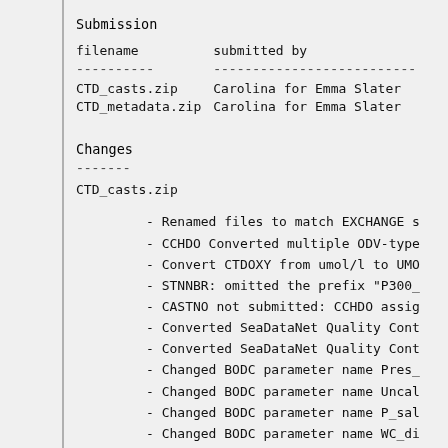Submission
| filename | submitted by |
| --- | --- |
| CTD_casts.zip | Carolina for Emma Slater |
| CTD_metadata.zip | Carolina for Emma Slater |
Changes
CTD_casts.zip
- Renamed files to match EXCHANGE s
- CCHDO Converted multiple ODV-type
- Convert CTDOXY from umol/l to UMO
- STNNBR: omitted the prefix "P300_
- CASTNO not submitted: CCHDO assig
- Converted SeaDataNet Quality Cont
- Converted SeaDataNet Quality Cont
- Changed BODC parameter name Pres_
- Changed BODC parameter name Uncal
- Changed BODC parameter name P_sal
- Changed BODC parameter name WC_di
- Changed BODC parameter name chl-a
- Changed CTDSAL units from Dmpless